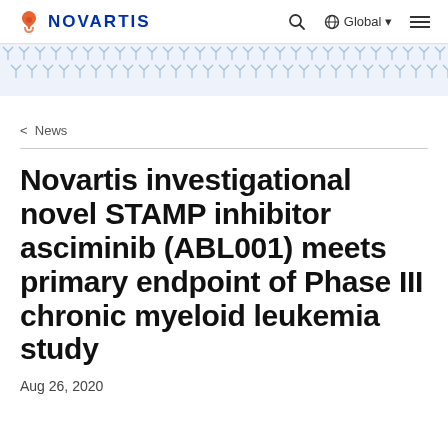NOVARTIS  |  Global
[Figure (illustration): Decorative geometric/molecular pattern strip in light blue, consisting of repeating Y-shaped and snowflake-like molecular structure icons arranged in rows across the full width of the page.]
< News
Novartis investigational novel STAMP inhibitor asciminib (ABL001) meets primary endpoint of Phase III chronic myeloid leukemia study
Aug 26, 2020